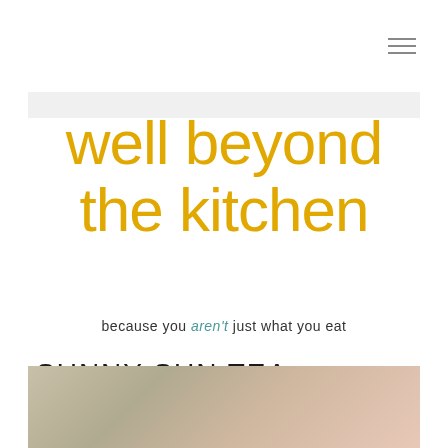[Figure (other): Hamburger menu icon (three horizontal lines) in the top right corner]
well beyond the kitchen
because you aren't just what you eat
SUNNY SUN TEA
[Figure (photo): Blurred photo of a drink or food item, partially visible at the bottom of the page]